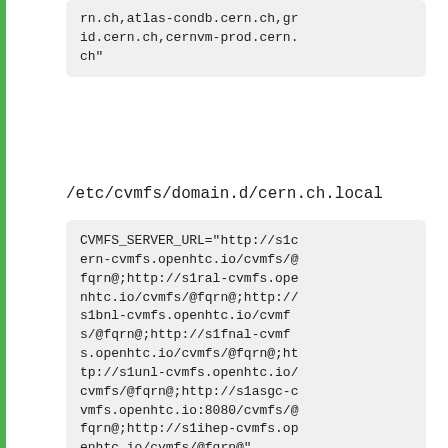rn.ch,atlas-condb.cern.ch,grid.cern.ch,cernvm-prod.cern.ch"
/etc/cvmfs/domain.d/cern.ch.local
CVMFS_SERVER_URL="http://s1cern-cvmfs.openhtc.io/cvmfs/@fqrn@;http://s1ral-cvmfs.openhtc.io/cvmfs/@fqrn@;http://s1bnl-cvmfs.openhtc.io/cvmfs/@fqrn@;http://s1fnal-cvmfs.openhtc.io/cvmfs/@fqrn@;http://s1unl-cvmfs.openhtc.io/cvmfs/@fqrn@;http://s1asgc-cvmfs.openhtc.io:8080/cvmfs/@fqrn@;http://s1ihep-cvmfs.openhtc.io/cvmfs/@fqrn@"

# set to 'yes' activates the geo API, set to 'no' deactivates it